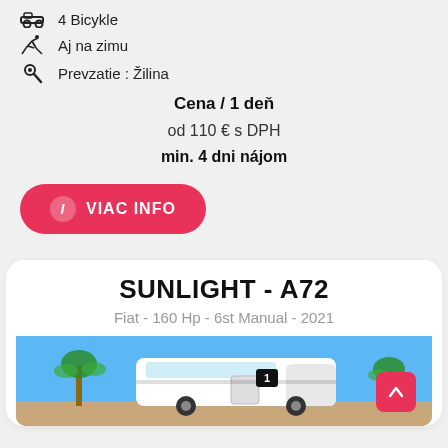4 Bicykle
Aj na zimu
Prevzatie : Žilina
Cena / 1 deň
od 110 € s DPH
min. 4 dni nájom
VIAC INFO
SUNLIGHT - A72
Fiat - 160 Hp - 6st Manual - 2021
[Figure (photo): Photo of Sunlight A72 camper van parked outdoors with palm trees and blue sky in background]